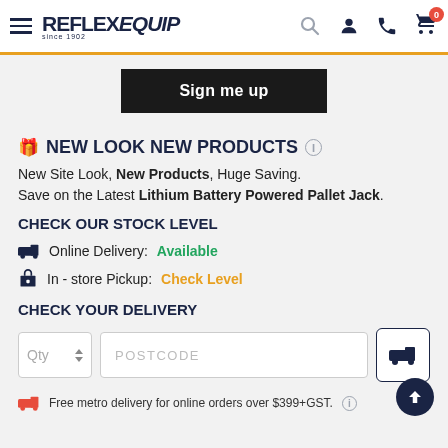REFLEX EQUIP since 1902
Sign me up
🎁 NEW LOOK NEW PRODUCTS
New Site Look, New Products, Huge Saving.
Save on the Latest Lithium Battery Powered Pallet Jack.
CHECK OUR STOCK LEVEL
Online Delivery: Available
In - store Pickup: Check Level
CHECK YOUR DELIVERY
Qty  POSTCODE
Free metro delivery for online orders over $399+GST.